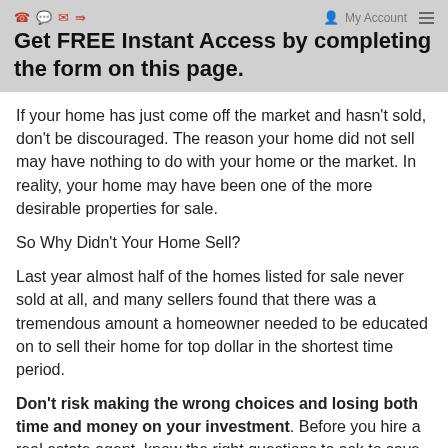Get FREE Instant Access by completing the form on this page.
If your home has just come off the market and hasn't sold, don't be discouraged. The reason your home did not sell may have nothing to do with your home or the market. In reality, your home may have been one of the more desirable properties for sale.
So Why Didn't Your Home Sell?
Last year almost half of the homes listed for sale never sold at all, and many sellers found that there was a tremendous amount a homeowner needed to be educated on to sell their home for top dollar in the shortest time period.
Don't risk making the wrong choices and losing both time and money on your investment. Before you hire a real estate agent, know the right questions to ask to save you time and money.